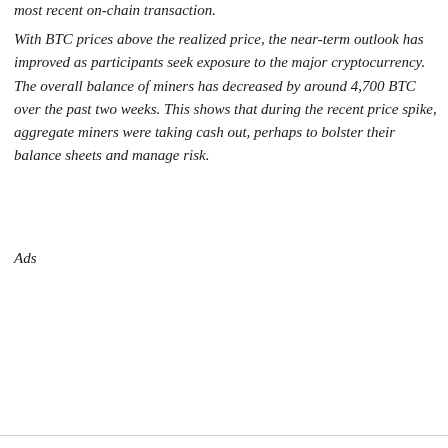most recent on-chain transaction.
With BTC prices above the realized price, the near-term outlook has improved as participants seek exposure to the major cryptocurrency. The overall balance of miners has decreased by around 4,700 BTC over the past two weeks. This shows that during the recent price spike, aggregate miners were taking cash out, perhaps to bolster their balance sheets and manage risk.
Ads